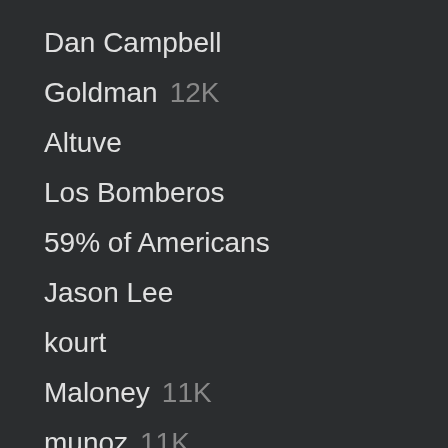Dan Campbell
Goldman  12K
Altuve
Los Bomberos
59% of Americans
Jason Lee
kourt
Maloney  11K
munoz  11K
Alfaro
Congratulations Tina
House Of The Rising Sun
Rebekah Jones